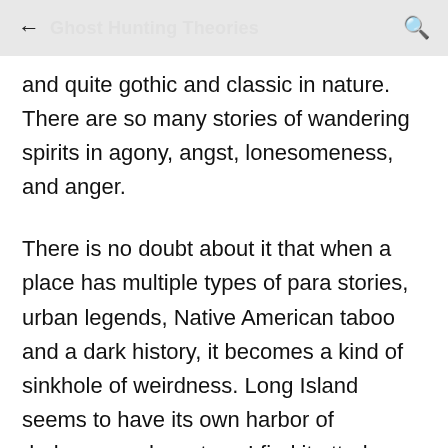Ghost Hunting Theories
and quite gothic and classic in nature. There are so many stories of wandering spirits in agony, angst, lonesomeness, and anger.
There is no doubt about it that when a place has multiple types of para stories, urban legends, Native American taboo and a dark history, it becomes a kind of sinkhole of weirdness. Long Island seems to have its own harbor of darkness and mystery. I find it utterly fascinating and inspired. This is an urban legend lover's dream!